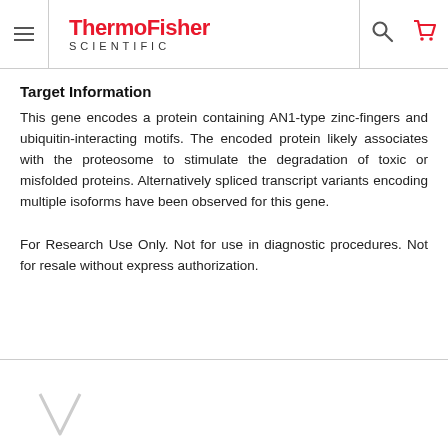ThermoFisher SCIENTIFIC
Target Information
This gene encodes a protein containing AN1-type zinc-fingers and ubiquitin-interacting motifs. The encoded protein likely associates with the proteosome to stimulate the degradation of toxic or misfolded proteins. Alternatively spliced transcript variants encoding multiple isoforms have been observed for this gene.
For Research Use Only. Not for use in diagnostic procedures. Not for resale without express authorization.